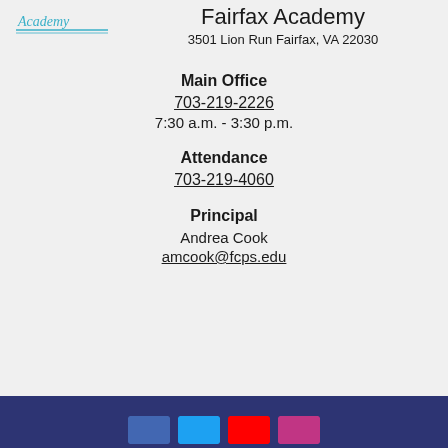[Figure (logo): Fairfax Academy logo with cursive text and horizontal lines]
Fairfax Academy
3501 Lion Run Fairfax, VA 22030
Main Office
703-219-2226
7:30 a.m. - 3:30 p.m.
Attendance
703-219-4060
Principal
Andrea Cook
amcook@fcps.edu
Social media icons footer bar